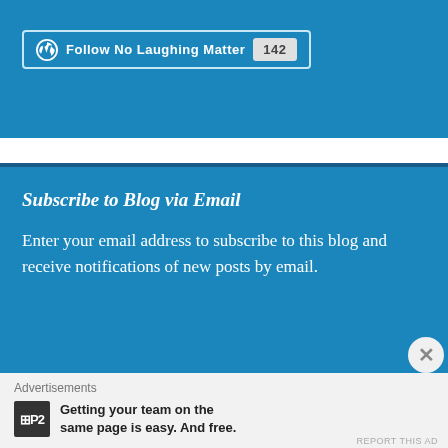[Figure (screenshot): WordPress Follow button showing 'Follow No Laughing Matter' with blue background and follower count badge showing 142]
Subscribe to Blog via Email
Enter your email address to subscribe to this blog and receive notifications of new posts by email.
Advertisements
[Figure (logo): P2 logo — black square with white 'P2' text]
Getting your team on the same page is easy. And free.